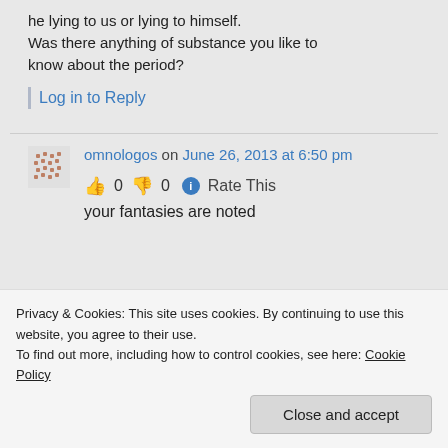he lying to us or lying to himself. Was there anything of substance you like to know about the period?
Log in to Reply
omnologos on June 26, 2013 at 6:50 pm
👍 0 👎 0 ℹ Rate This
your fantasies are noted
Privacy & Cookies: This site uses cookies. By continuing to use this website, you agree to their use.
To find out more, including how to control cookies, see here: Cookie Policy
Close and accept